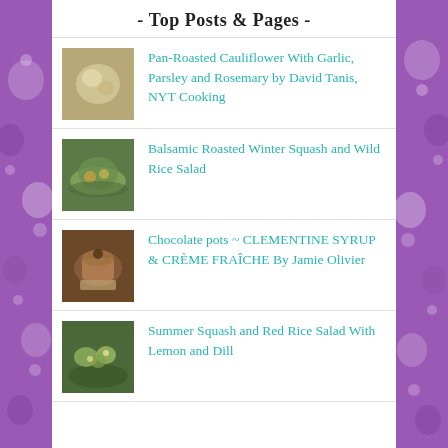- Top Posts & Pages -
Pan-Roasted Cauliflower With Garlic, Parsley and Rosemary by David Tanis, NYT Cooking
Balsamic Roasted Winter Squash and Wild Rice Salad
Chocolate pots ~ CLEMENTINE SYRUP & CRÈME FRAÎCHE By Jamie Olivier
Summer Squash and Red Rice Salad With Lemon and Dill